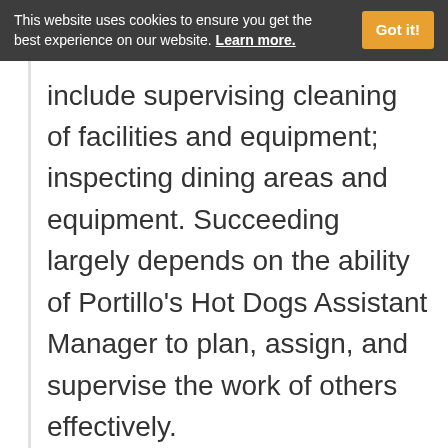This website uses cookies to ensure you get the best experience on our website. Learn more.
include supervising cleaning of facilities and equipment; inspecting dining areas and equipment. Succeeding largely depends on the ability of Portillo's Hot Dogs Assistant Manager to plan, assign, and supervise the work of others effectively.
Portillo's Hot Dogs Assistant Manager Salary: $49,000